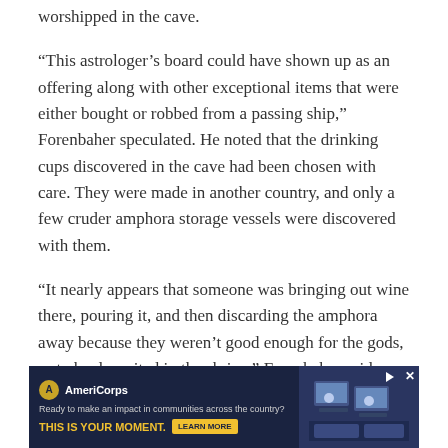worshipped in the cave.
“This astrologer’s board could have shown up as an offering along with other exceptional items that were either bought or robbed from a passing ship,” Forenbaher speculated. He noted that the drinking cups discovered in the cave had been chosen with care. They were made in another country, and only a few cruder amphora storage vessels were discovered with them.
“It nearly appears that someone was bringing out wine there, pouring it, and then discarding the amphora away because they weren’t good enough for the gods, or to be deposited in the shrine,” Forenbaher said.
The phallic-shaped stalagmite, which may have formed
[Figure (screenshot): AmeriCorps advertisement banner with dark blue background. Logo with circular icon and 'AmeriCorps' text. Text reads 'Ready to make an impact in communities across the country?' and 'THIS IS YOUR MOMENT.' with a 'LEARN MORE' button. Right side shows image of people at computers.]